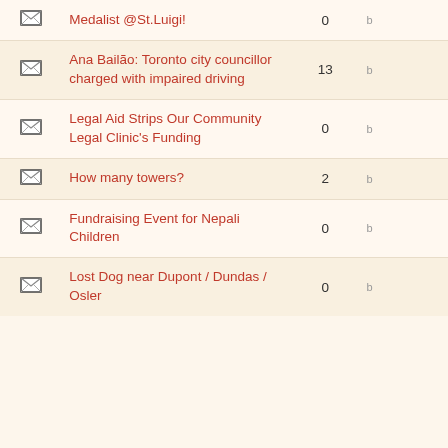|  | Title | Comments |  |
| --- | --- | --- | --- |
| ✉ | Medalist @St.Luigi! | 0 | b |
| ✉ | Ana Bailão: Toronto city councillor charged with impaired driving | 13 | b |
| ✉ | Legal Aid Strips Our Community Legal Clinic's Funding | 0 | b |
| ✉ | How many towers? | 2 | b |
| ✉ | Fundraising Event for Nepali Children | 0 | b |
| ✉ | Lost Dog near Dupont / Dundas / Osler | 0 | b |